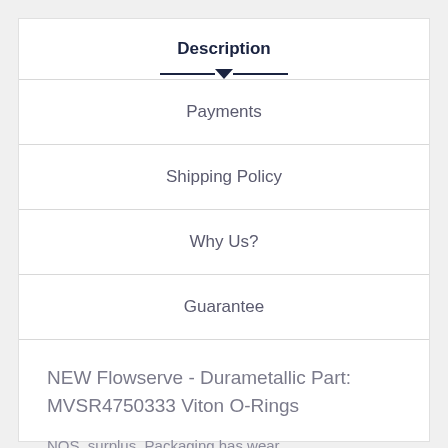Description
Payments
Shipping Policy
Why Us?
Guarantee
NEW Flowserve - Durametallic Part: MVSR4750333 Viton O-Rings
NOS, surplus. Packaging has wear.